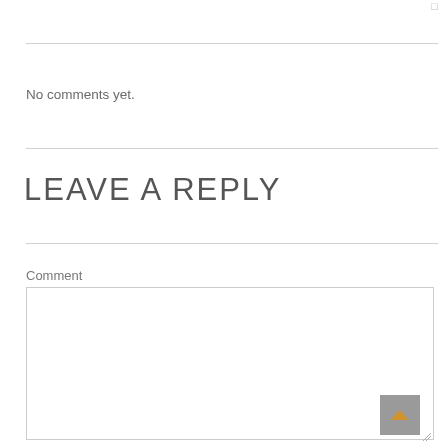No comments yet.
LEAVE A REPLY
Comment